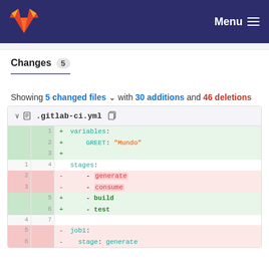GitLab header with Menu
Changes 5
Showing 5 changed files with 30 additions and 46 deletions
| old | new | sign | code |
| --- | --- | --- | --- |
|  | 1 | + | variables: |
|  | 2 | + |     GREET: "Mundo" |
|  | 3 | + |  |
| 1 | 4 |  | stages: |
| 2 |  | - |     - generate |
| 3 |  | - |     - consume |
|  | 5 | + |     - build |
|  | 6 | + |     - test |
| 4 | 7 |  |  |
| 5 |  | - | job1: |
| 6 |  | - |   stage: generate |